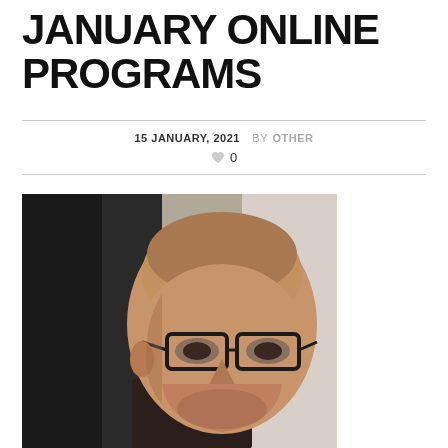JANUARY ONLINE PROGRAMS
15 JANUARY, 2021  BY OTHER
♥ 0
[Figure (photo): Portrait photo of a bald man with glasses, looking at camera, dark background on left side, lighter background on right]